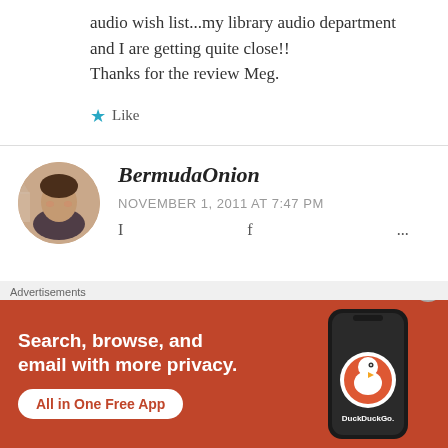audio wish list...my library audio department and I are getting quite close!! Thanks for the review Meg.
★ Like
[Figure (photo): Circular avatar photo of a woman, BermudaOnion commenter profile picture]
BermudaOnion
NOVEMBER 1, 2011 AT 7:47 PM
[Figure (screenshot): DuckDuckGo advertisement banner: Search, browse, and email with more privacy. All in One Free App. Shows a phone with DuckDuckGo logo.]